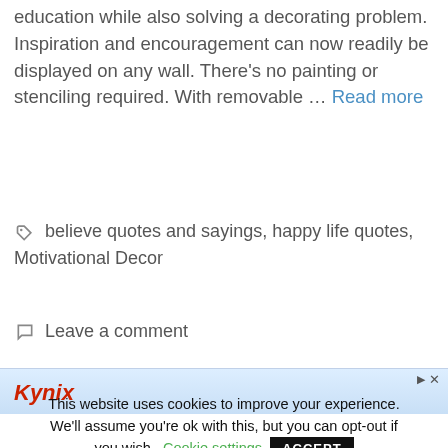education while also solving a decorating problem. Inspiration and encouragement can now readily be displayed on any wall. There’s no painting or stenciling required. With removable ... Read more
believe quotes and sayings, happy life quotes, Motivational Decor
Leave a comment
[Figure (other): Kynix advertisement banner with logo and close/ad controls]
This website uses cookies to improve your experience. We'll assume you're ok with this, but you can opt-out if you wish. Cookie settings ACCEPT